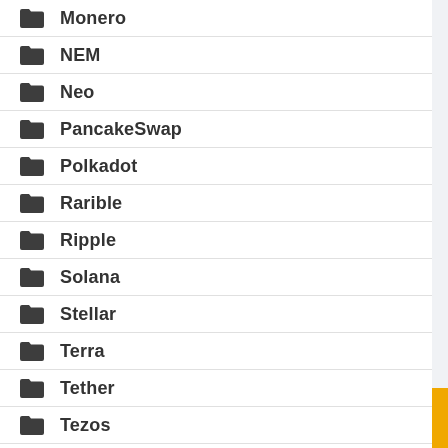Monero
NEM
Neo
PancakeSwap
Polkadot
Rarible
Ripple
Solana
Stellar
Terra
Tether
Tezos
The Graph